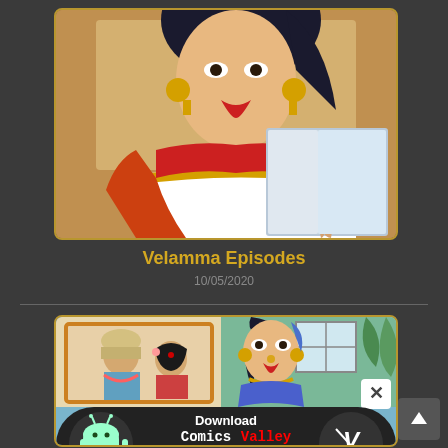[Figure (illustration): Animated illustration of a woman in a saree with gold necklace and earrings, with a smaller inner panel showing another character]
Velamma Episodes
10/05/2020
[Figure (illustration): Animated illustration showing two characters on the left side and a woman in blue on the right side, with a download banner for Comics Valley Android App at the bottom]